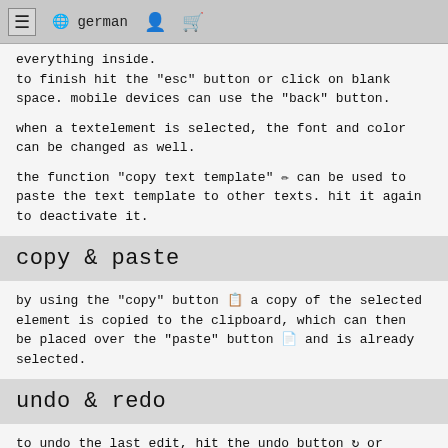≡  🌐 german  👤  🛒
everything inside.
to finish hit the "esc" button or click on blank space. mobile devices can use the "back" button.
when a textelement is selected, the font and color can be changed as well.
the function "copy text template" ✏ can be used to paste the text template to other texts. hit it again to deactivate it.
copy & paste
by using the "copy" button 📋 a copy of the selected element is copied to the clipboard, which can then be placed over the "paste" button 📄 and is already selected.
undo & redo
to undo the last edit, hit the undo button ↩ or